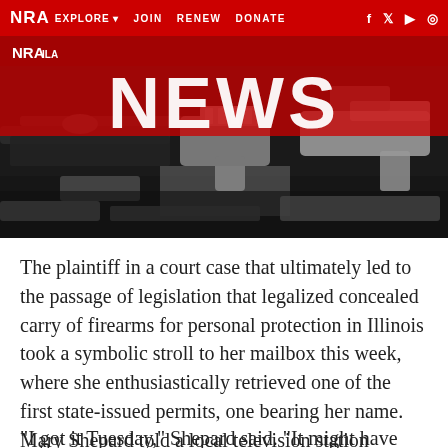NRA EXPLORE ▼  JOIN  RENEW  DONATE  f  𝕏  ▶  ⊙
[Figure (photo): NRA News banner with large white 'NEWS' text overlaid on a dark background showing multiple firearms including pistols and rifles arranged together]
The plaintiff in a court case that ultimately led to the passage of legislation that legalized concealed carry of firearms for personal protection in Illinois took a symbolic stroll to her mailbox this week, where she enthusiastically retrieved one of the first state-issued permits, one bearing her name. Mary Shepard told a local television station reporter she was joyous when she trudged through ice and snow and discovered the envelope from the Illinois State Police.
"I got it Tuesday," Shepard said. "It might have made it